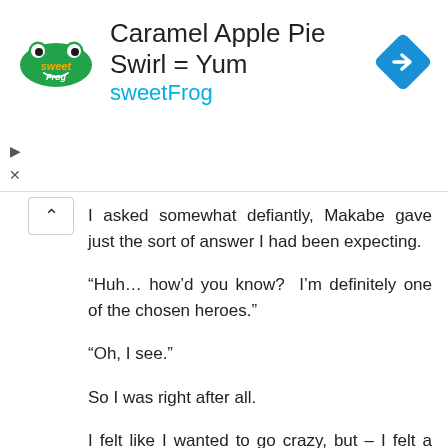[Figure (other): sweetFrog advertisement banner: logo with sweetFrog text, headline 'Caramel Apple Pie Swirl = Yum', subtext 'sweetFrog', and a blue diamond-shaped navigation icon on the right. Ad control icons (play, close) on the left.]
I asked somewhat defiantly, Makabe gave just the sort of answer I had been expecting.
“Huh… how’d you know?  I’m definitely one of the chosen heroes.”
“Oh, I see.”
So I was right after all.
I felt like I wanted to go crazy, but – I felt a slight sense of unease at Makabe’s next words, so I kept my consciousness firmly grounded in reality.
“Umm… right, I’m the chosen hero of Mayonnai Kingdom…